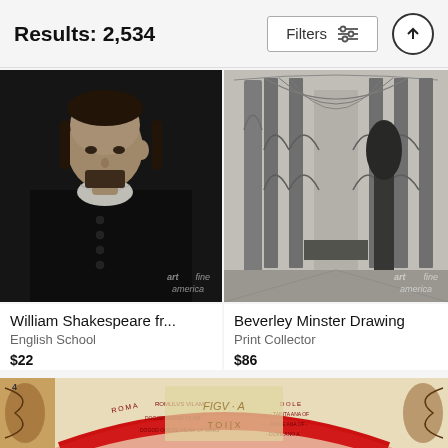Results: 2,534
[Figure (screenshot): Search results page from Fine Art America showing filter button and up arrow button]
[Figure (photo): Black and white engraving portrait of William Shakespeare, bust view showing his face, collar, and jacket with buttons. Watermark reads 'fine art america' in bottom right.]
William Shakespeare fr...
English School
$22
[Figure (photo): Black and white engraving of the interior of Beverley Minster showing tall gothic arched columns and vaulted ceiling. Watermark reads 'fine art america' in bottom right.]
Beverley Minster Drawing
Print Collector
$86
[Figure (illustration): Partial view of a colorful historical astronomical or astrological chart/diagram with red arched bands and decorative elements, text appears to be in Latin.]